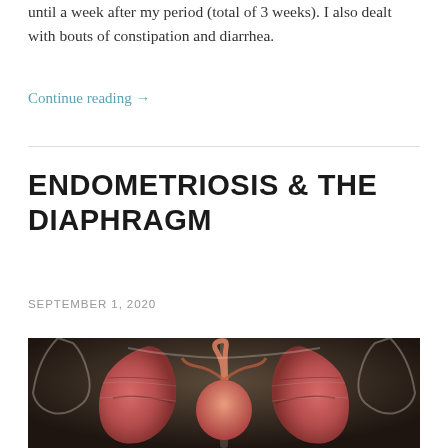until a week after my period (total of 3 weeks). I also dealt with bouts of constipation and diarrhea.
Continue reading →
ENDOMETRIOSIS & THE DIAPHRAGM
SEPTEMBER 1, 2020
[Figure (photo): Medical illustration of human torso anatomy showing lungs and heart in pink/red tones against a dark background with skeletal structure visible]